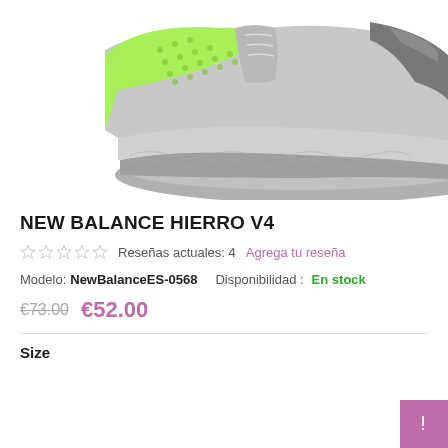[Figure (photo): Side view of a New Balance Hierro V4 running shoe with lime green upper and gray sole, partially cropped at top of page]
NEW BALANCE HIERRO V4
Reseñas actuales: 4   Agrega tu reseña
Modelo: NewBalanceES-0568   Disponibilidad: En stock
€73.00  €52.00
Size